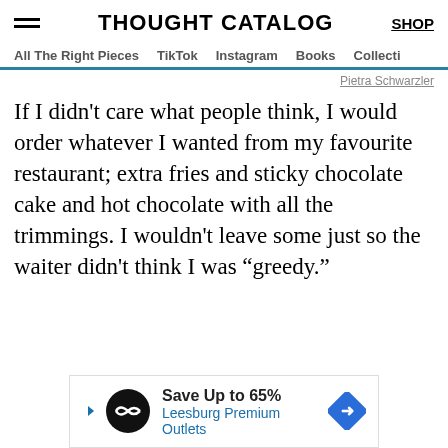THOUGHT CATALOG | SHOP
All The Right Pieces | TikTok | Instagram | Books | Collecti
Pietra Schwarzler
If I didn't care what people think, I would order whatever I wanted from my favourite restaurant; extra fries and sticky chocolate cake and hot chocolate with all the trimmings. I wouldn't leave some just so the waiter didn't think I was “greedy.”
[Figure (other): Advertisement banner: Save Up to 65% Leesburg Premium Outlets]